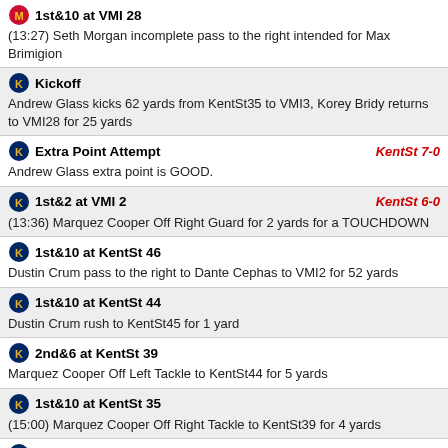1st&10 at VMI 28 — (13:27) Seth Morgan incomplete pass to the right intended for Max Brimigion
Kickoff — Andrew Glass kicks 62 yards from KentSt35 to VMI3, Korey Bridy returns to VMI28 for 25 yards
Extra Point Attempt — KentSt 7-0 — Andrew Glass extra point is GOOD.
1st&2 at VMI 2 — KentSt 6-0 — (13:36) Marquez Cooper Off Right Guard for 2 yards for a TOUCHDOWN
1st&10 at KentSt 46 — Dustin Crum pass to the right to Dante Cephas to VMI2 for 52 yards
1st&10 at KentSt 44 — Dustin Crum rush to KentSt45 for 1 yard
2nd&6 at KentSt 39 — Marquez Cooper Off Left Tackle to KentSt44 for 5 yards
1st&10 at KentSt 35 — (15:00) Marquez Cooper Off Right Tackle to KentSt39 for 4 yards
2nd&3 at KentSt 32 — Dustin Crum pass to the left to Dante Cephas to KentSt35 for 3 yards
1st&10 at KentSt 25